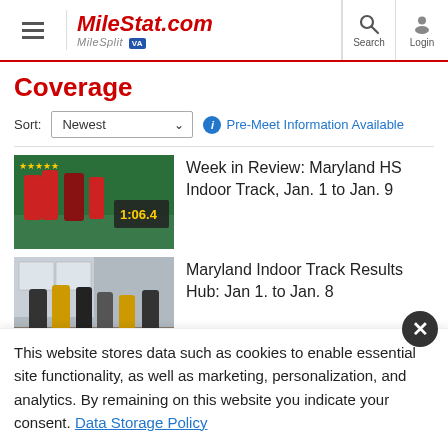MileStat.com MileSplit VA
Coverage
Sort: Newest  Pre-Meet Information Available
[Figure (photo): Indoor track relay race photo showing runners passing baton, scoreboard showing 1:06.4]
Week in Review: Maryland HS Indoor Track, Jan. 1 to Jan. 9
[Figure (photo): Indoor track race photo showing multiple runners on an indoor track]
Maryland Indoor Track Results Hub: Jan 1. to Jan. 8
This website stores data such as cookies to enable essential site functionality, as well as marketing, personalization, and analytics. By remaining on this website you indicate your consent. Data Storage Policy